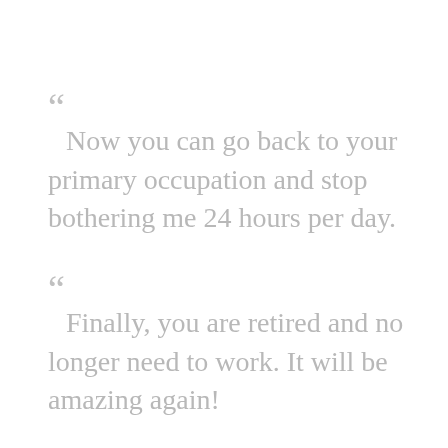“ Now you can go back to your primary occupation and stop bothering me 24 hours per day.
“ Finally, you are retired and no longer need to work. It will be amazing again!